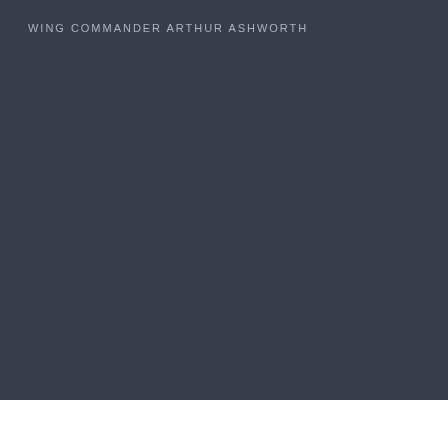WING COMMANDER ARTHUR ASHWORTH